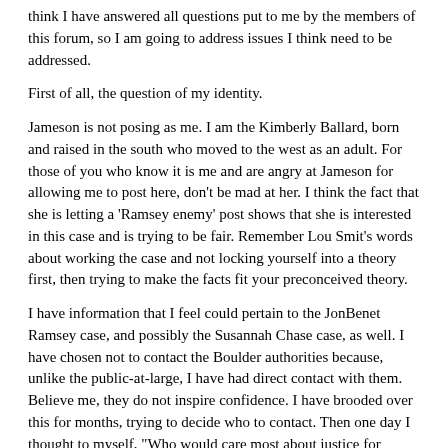think I have answered all questions put to me by the members of this forum, so I am going to address issues I think need to be addressed.
First of all, the question of my identity.
Jameson is not posing as me. I am the Kimberly Ballard, born and raised in the south who moved to the west as an adult. For those of you who know it is me and are angry at Jameson for allowing me to post here, don't be mad at her. I think the fact that she is letting a 'Ramsey enemy' post shows that she is interested in this case and is trying to be fair. Remember Lou Smit's words about working the case and not locking yourself into a theory first, then trying to make the facts fit your preconceived theory.
I have information that I feel could pertain to the JonBenet Ramsey case, and possibly the Susannah Chase case, as well. I have chosen not to contact the Boulder authorities because, unlike the public-at-large, I have had direct contact with them. Believe me, they do not inspire confidence. I have brooded over this for months, trying to decide who to contact. Then one day I thought to myself, "Who would care most about justice for JonBenet?" The BPD? I don't think so. The media? I know NOT! So, even with rewards as high as one million dollars, the media is not an option in my opinion.